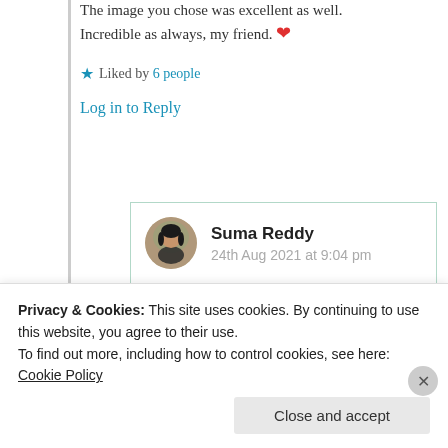The image you chose was excellent as well. Incredible as always, my friend. ❤️
★ Liked by 6 people
Log in to Reply
Suma Reddy
24th Aug 2021 at 9:04 pm
Thank you very much dear Grace, glad
Privacy & Cookies: This site uses cookies. By continuing to use this website, you agree to their use.
To find out more, including how to control cookies, see here: Cookie Policy
Close and accept